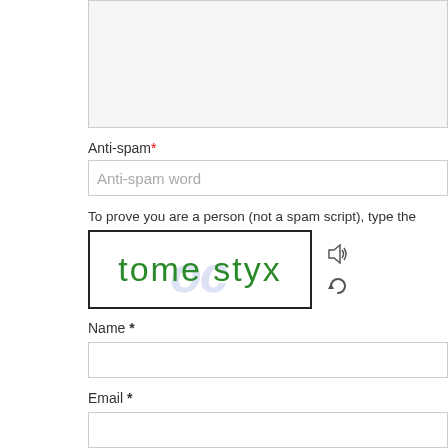[Figure (screenshot): Partial view of a web comment form textarea (grayed out, empty)]
Anti-spam*
Anti-spam word
To prove you are a person (not a spam script), type the words from the follow
[Figure (screenshot): CAPTCHA image showing the text 'tome styx' in green with a blue watermark background, alongside audio and refresh icons]
Name *
Email *
Save my name, email, and website in this browser for the next time I co